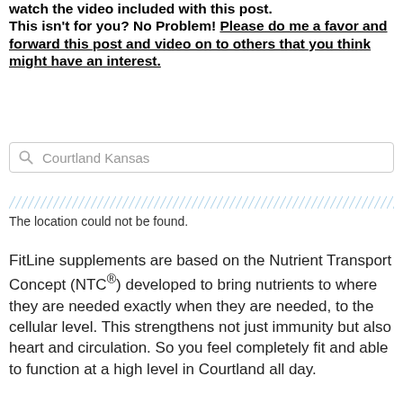watch the video included with this post. This isn't for you? No Problem! Please do me a favor and forward this post and video on to others that you think might have an interest.
[Figure (screenshot): Search box with magnifying glass icon and placeholder text 'Courtland Kansas']
The location could not be found.
FitLine supplements are based on the Nutrient Transport Concept (NTC®) developed to bring nutrients to where they are needed exactly when they are needed, to the cellular level. This strengthens not just immunity but also heart and circulation. So you feel completely fit and able to function at a high level in Courtland all day.